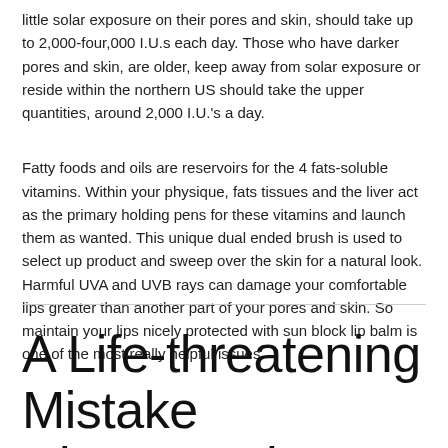little solar exposure on their pores and skin, should take up to 2,000-four,000 I.U.s each day. Those who have darker pores and skin, are older, keep away from solar exposure or reside within the northern US should take the upper quantities, around 2,000 I.U.'s a day.
Fatty foods and oils are reservoirs for the 4 fats-soluble vitamins. Within your physique, fats tissues and the liver act as the primary holding pens for these vitamins and launch them as wanted. This unique dual ended brush is used to select up product and sweep over the skin for a natural look. Harmful UVA and UVB rays can damage your comfortable lips greater than another part of your pores and skin. So maintain your lips nicely protected with sun block lip balm is one of the most really helpful issues.
A Life-threatening Mistake Discovered on